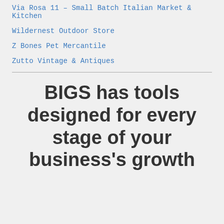Via Rosa 11 – Small Batch Italian Market & Kitchen
Wildernest Outdoor Store
Z Bones Pet Mercantile
Zutto Vintage & Antiques
BIGS has tools designed for every stage of your business's growth